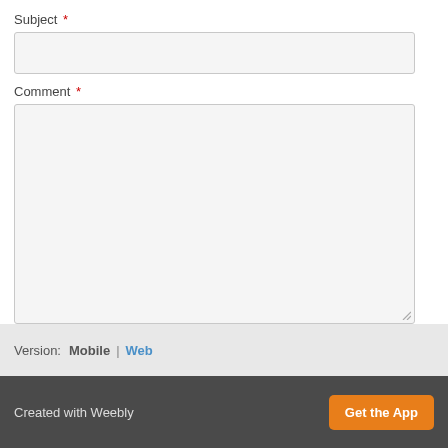Subject *
Comment *
Submit
Version: Mobile | Web
Created with Weebly  Get the App